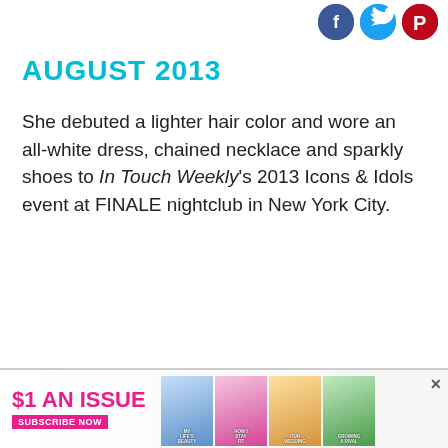[Figure (other): Social media sharing icons: Facebook (blue circle), Twitter (light blue circle), Pinterest (red circle)]
AUGUST 2013
She debuted a lighter hair color and wore an all-white dress, chained necklace and sparkly shoes to In Touch Weekly's 2013 Icons & Idols event at FINALE nightclub in New York City.
[Figure (photo): Advertisement banner: $1 AN ISSUE SUBSCRIBE NOW with Us Weekly magazine covers]